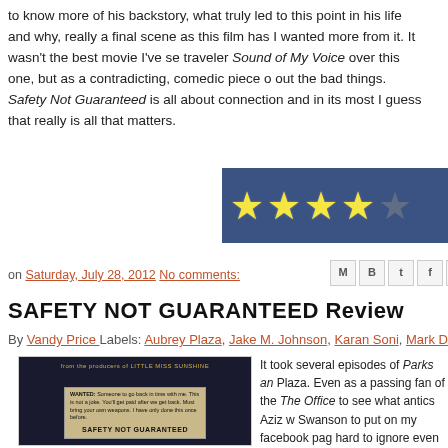to know more of his backstory, what truly led to this point in his life and why, really a final scene as this film has I wanted more from it. It wasn't the best movie I've se traveler Sound of My Voice over this one, but as a contradicting, comedic piece o out the bad things. Safety Not Guaranteed is all about connection and in its most I guess that really is all that matters.
[Figure (other): Star rating graphic showing 4 out of 5 yellow stars on a dark blue background]
on Saturday, July 28, 2012 No comments:
[Figure (other): Social sharing icon buttons: Email (M), Blogger (B), Twitter (t), Facebook (f), Pinterest (P)]
SAFETY NOT GUARANTEED Review
By Vandy Price Labels: Aubrey Plaza, Jake M. Johnson, Karan Soni, Mark D
[Figure (photo): Movie poster for Safety Not Guaranteed showing a WANTED ad on aged paper against a dark background, with text 'from the producers of LITTLE MISS SUNSHINE']
It took several episodes of Parks an Plaza. Even as a passing fan of the The Office to see what antics Aziz w Swanson to put on my facebook pag hard to ignore even if I did get the ub from time to time. This is all to say th the gutter work and has come out p